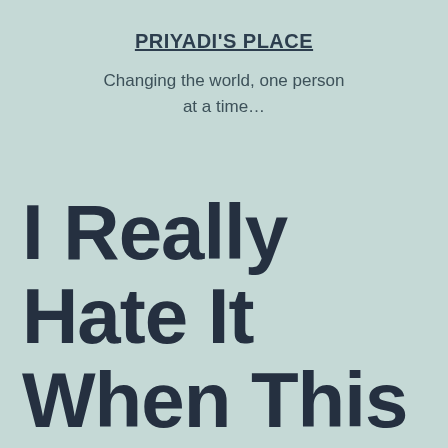PRIYADI'S PLACE
Changing the world, one person at a time…
I Really Hate It When This Happens